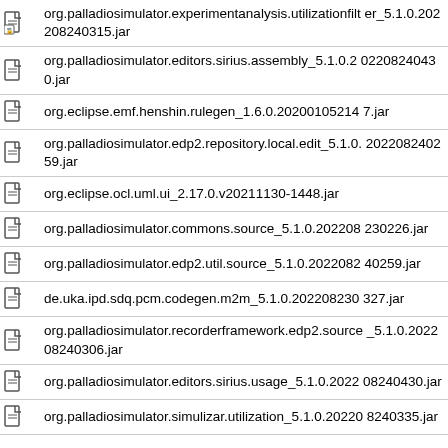org.palladiosimulator.experimentanalysis.utilizationfilter_5.1.0.202208240315.jar
org.palladiosimulator.editors.sirius.assembly_5.1.0.202208240430.jar
org.eclipse.emf.henshin.rulegen_1.6.0.202001052147.jar
org.palladiosimulator.edp2.repository.local.edit_5.1.0.202208240259.jar
org.eclipse.ocl.uml.ui_2.17.0.v20211130-1448.jar
org.palladiosimulator.commons.source_5.1.0.202208230226.jar
org.palladiosimulator.edp2.util.source_5.1.0.202208240259.jar
de.uka.ipd.sdq.pcm.codegen.m2m_5.1.0.202208230327.jar
org.palladiosimulator.recorderframework.edp2.source_5.1.0.202208240306.jar
org.palladiosimulator.editors.sirius.usage_5.1.0.202208240430.jar
org.palladiosimulator.simulizar.utilization_5.1.0.202208240335.jar